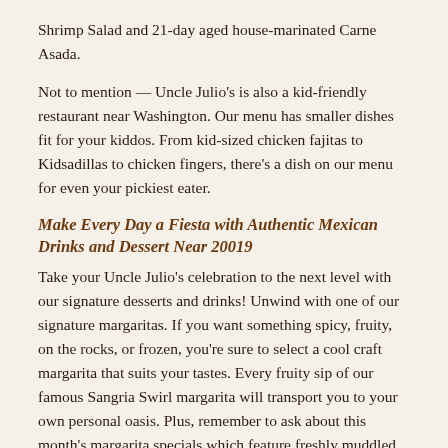Shrimp Salad and 21-day aged house-marinated Carne Asada.
Not to mention — Uncle Julio's is also a kid-friendly restaurant near Washington. Our menu has smaller dishes fit for your kiddos. From kid-sized chicken fajitas to Kidsadillas to chicken fingers, there's a dish on our menu for even your pickiest eater.
Make Every Day a Fiesta with Authentic Mexican Drinks and Dessert Near 20019
Take your Uncle Julio's celebration to the next level with our signature desserts and drinks! Unwind with one of our signature margaritas. If you want something spicy, fruity, on the rocks, or frozen, you're sure to select a cool craft margarita that suits your tastes. Every fruity sip of our famous Sangria Swirl margarita will transport you to your own personal oasis. Plus, remember to ask about this month's margarita specials which feature freshly muddled seasonal fruit. St